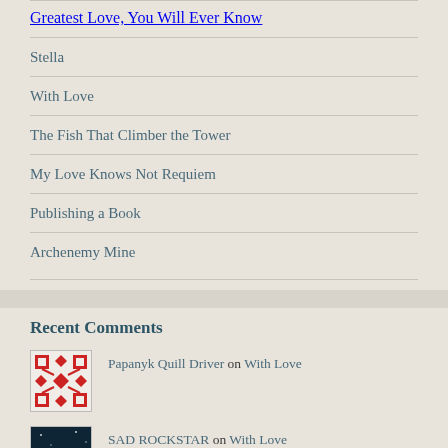Greatest Love, You Will Ever Know
Stella
With Love
The Fish That Climber the Tower
My Love Knows Not Requiem
Publishing a Book
Archenemy Mine
Recent Comments
Papanyk Quill Driver on With Love
SAD ROCKSTAR on With Love
Justin on I am only me!